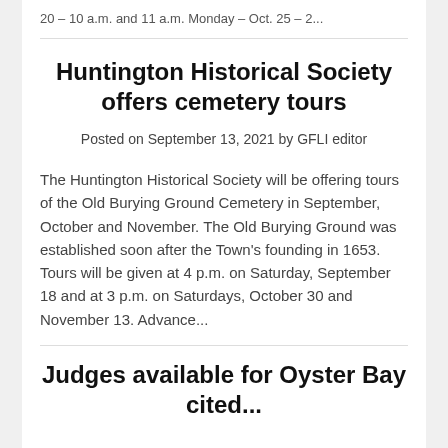20 – 10 a.m. and 11 a.m. Monday – Oct. 25 – 2...
Huntington Historical Society offers cemetery tours
Posted on September 13, 2021 by GFLI editor
The Huntington Historical Society will be offering tours of the Old Burying Ground Cemetery in September, October and November. The Old Burying Ground was established soon after the Town's founding in 1653. Tours will be given at 4 p.m. on Saturday, September 18 and at 3 p.m. on Saturdays, October 30 and November 13. Advance...
Judges available for Oyster Bay cited...